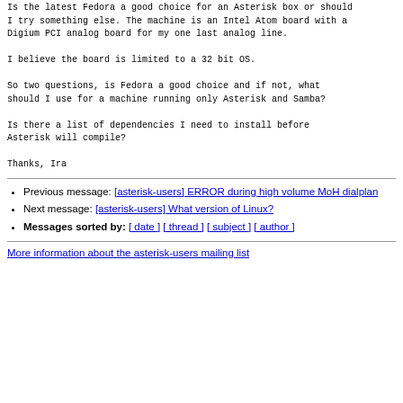Is the latest Fedora a good choice for an Asterisk box or should
I try something else. The machine is an Intel Atom board with a
Digium PCI analog board for my one last analog line.

I believe the board is limited to a 32 bit OS.

So two questions, is Fedora a good choice and if not, what
should I use for a machine running only Asterisk and Samba?

Is there a list of dependencies I need to install before
Asterisk will compile?

Thanks, Ira
Previous message: [asterisk-users] ERROR during high volume MoH dialplan
Next message: [asterisk-users] What version of Linux?
Messages sorted by: [ date ] [ thread ] [ subject ] [ author ]
More information about the asterisk-users mailing list